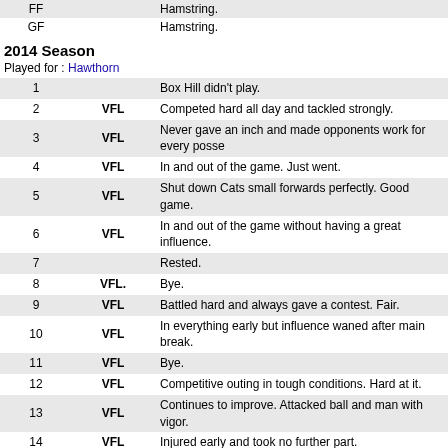| # | Type | Note |
| --- | --- | --- |
| FF |  | Hamstring. |
| GF |  | Hamstring. |
2014 Season
Played for : Hawthorn
| # | Type | Note |
| --- | --- | --- |
| 1 |  | Box Hill didn't play. |
| 2 | VFL | Competed hard all day and tackled strongly. |
| 3 | VFL | Never gave an inch and made opponents work for every posse |
| 4 | VFL | In and out of the game. Just went. |
| 5 | VFL | Shut down Cats small forwards perfectly. Good game. |
| 6 | VFL | In and out of the game without having a great influence. |
| 7 |  | Rested. |
| 8 | VFL. | Bye. |
| 9 | VFL | Battled hard and always gave a contest. Fair. |
| 10 | VFL | In everything early but influence waned after main break. |
| 11 | VFL | Bye. |
| 12 | VFL | Competitive outing in tough conditions. Hard at it. |
| 13 | VFL | Continues to improve. Attacked ball and man with vigor. |
| 14 | VFL | Injured early and took no further part. |
| 15 |  | Hamstring. |
| 16 |  | Hamstring. |
| 17 |  | Hamstring. |
| 18 | VFL | Got through first game back in big development league win. |
| 19 |  | Hamstring. |
| 20 |  | One of Hawks' best in development league mauling. |
| 21 | VFL | Nice outing with 20 possessions. |
| 22 | VFL | Wasn't a big factor in 22-goal victory. |
| 23 |  | Hamstring. |